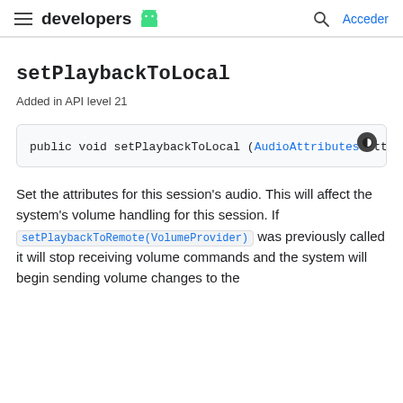developers [android logo] | Acceder
setPlaybackToLocal
Added in API level 21
public void setPlaybackToLocal (AudioAttributes attr
Set the attributes for this session's audio. This will affect the system's volume handling for this session. If setPlaybackToRemote(VolumeProvider) was previously called it will stop receiving volume commands and the system will begin sending volume changes to the